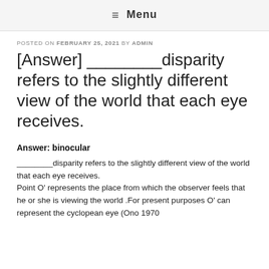≡ Menu
POSTED ON FEBRUARY 25, 2021 BY ADMIN
[Answer] ________disparity refers to the slightly different view of the world that each eye receives.
Answer: binocular
________disparity refers to the slightly different view of the world that each eye receives.
Point O' represents the place from which the observer feels that he or she is viewing the world .For present purposes O' can represent the cyclopean eye (Ono 1970